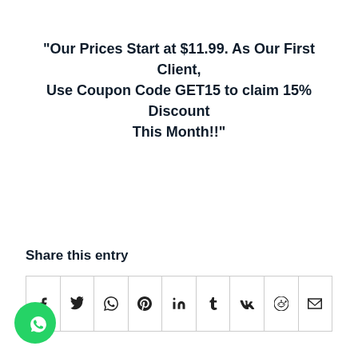"Our Prices Start at $11.99. As Our First Client, Use Coupon Code GET15 to claim 15% Discount This Month!!"
Share this entry
[Figure (other): Social share buttons row: Facebook, Twitter, WhatsApp, Pinterest, LinkedIn, Tumblr, VK, Reddit, Email]
[Figure (other): WhatsApp floating button icon (green circle with phone handset)]